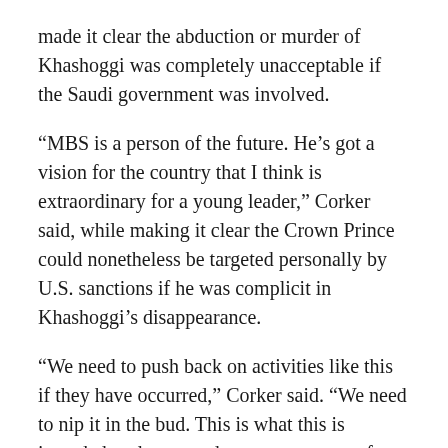made it clear the abduction or murder of Khashoggi was completely unacceptable if the Saudi government was involved.
“MBS is a person of the future. He’s got a vision for the country that I think is extraordinary for a young leader,” Corker said, while making it clear the Crown Prince could nonetheless be targeted personally by U.S. sanctions if he was complicit in Khashoggi’s disappearance.
“We need to push back on activities like this if they have occurred,” Corker said. “We need to nip it in the bud. This is what this is intended to do, to send a strong message from us. It’s my hope that it doesn’t lead to the top. Indications are that if in fact he was murdered, it could well do so.”